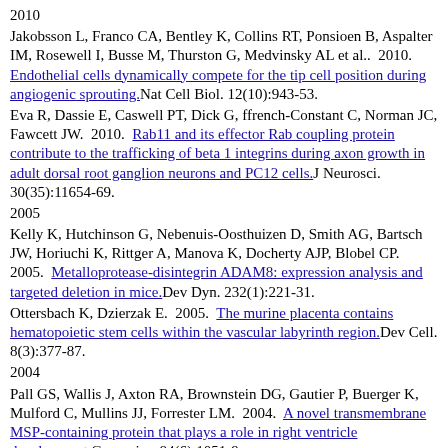2010
Jakobsson L, Franco CA, Bentley K, Collins RT, Ponsioen B, Aspalter IM, Rosewell I, Busse M, Thurston G, Medvinsky AL et al..  2010.  Endothelial cells dynamically compete for the tip cell position during angiogenic sprouting.Nat Cell Biol. 12(10):943-53.
Eva R, Dassie E, Caswell PT, Dick G, ffrench-Constant C, Norman JC, Fawcett JW.  2010.  Rab11 and its effector Rab coupling protein contribute to the trafficking of beta 1 integrins during axon growth in adult dorsal root ganglion neurons and PC12 cells.J Neurosci. 30(35):11654-69.
2005
Kelly K, Hutchinson G, Nebenuis-Oosthuizen D, Smith AG, Bartsch JW, Horiuchi K, Rittger A, Manova K, Docherty AJP, Blobel CP.  2005.  Metalloprotease-disintegrin ADAM8: expression analysis and targeted deletion in mice.Dev Dyn. 232(1):221-31.
Ottersbach K, Dzierzak E.  2005.  The murine placenta contains hematopoietic stem cells within the vascular labyrinth region.Dev Cell. 8(3):377-87.
2004
Pall GS, Wallis J, Axton RA, Brownstein DG, Gautier P, Buerger K, Mulford C, Mullins JJ, Forrester LM.  2004.  A novel transmembrane MSP-containing protein that plays a role in right ventricle development.Genomics. 84(6):1051-9.
2002